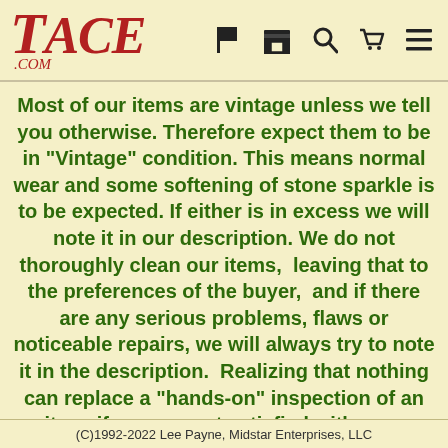Tace.com — navigation header with logo and icons
Most of our items are vintage unless we tell you otherwise. Therefore expect them to be in "Vintage" condition. This means normal wear and some softening of stone sparkle is to be expected. If either is in excess we will note it in our description. We do not thoroughly clean our items,  leaving that to the preferences of the buyer,  and if there are any serious problems, flaws or noticeable repairs, we will always try to note it in the description.  Realizing that nothing can replace a "hands-on" inspection of an item, if you are not satisfied with your purchase for any reason, we will always accept returns or
(C)1992-2022 Lee Payne, Midstar Enterprises, LLC